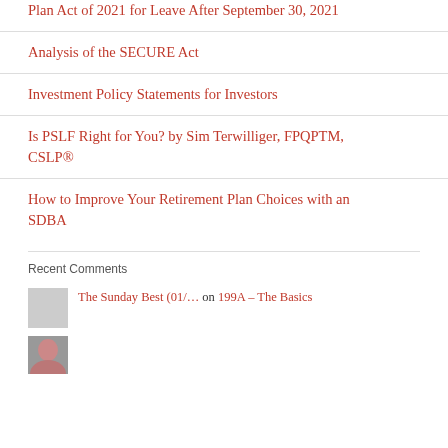Plan Act of 2021 for Leave After September 30, 2021
Analysis of the SECURE Act
Investment Policy Statements for Investors
Is PSLF Right for You? by Sim Terwilliger, FPQPTM, CSLP®
How to Improve Your Retirement Plan Choices with an SDBA
Recent Comments
The Sunday Best (01/... on 199A – The Basics